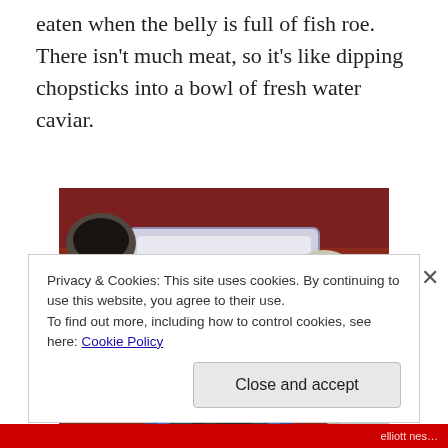eaten when the belly is full of fish roe. There isn't much meat, so it's like dipping chopsticks into a bowl of fresh water caviar.
[Figure (photo): A Japanese meal spread on a red table showing a square plate with sliced raw meat sashimi garnished with lemon and greens, a small bowl of dark dipping sauce, a blue bowl with seaweed and lemon, and other dishes.]
Privacy & Cookies: This site uses cookies. By continuing to use this website, you agree to their use.
To find out more, including how to control cookies, see here: Cookie Policy
Close and accept